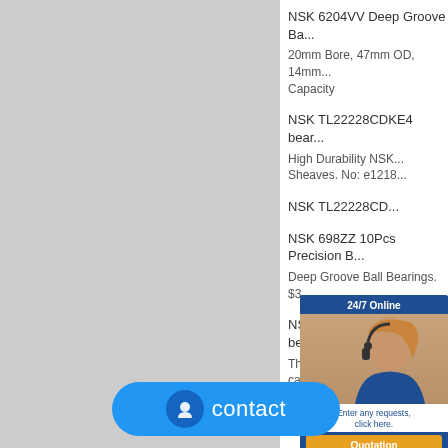NSK 6204VV Deep Groove Ba...
20mm Bore, 47mm OD, 14mm... Capacity
NSK TL22228CDKE4 bear...
High Durability NSK... Sheaves. No: e1218...
NSK TL22228CD...
NSK 698ZZ 10Pcs Precision B...
Deep Groove Ball Bearings. $3...
NSK TL22228CDKE4 bear...
This 22... is a... cages,... an...
[Figure (screenshot): Customer service chat widget showing a female agent with headset, '24/7 Online' header, 'Enter any requests, click here.' text, and a yellow 'Quotation' button]
[Figure (screenshot): Blue 'contact' button with circular icon on the bottom of the page]